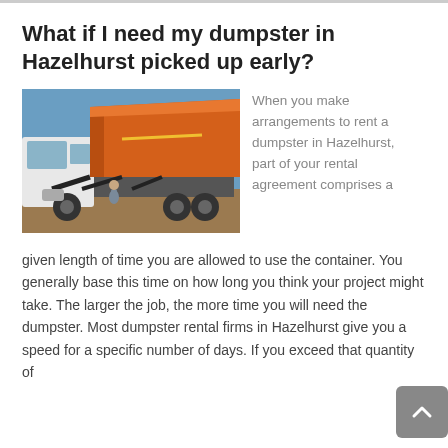What if I need my dumpster in Hazelhurst picked up early?
[Figure (photo): A large white truck with an orange roll-off dumpster container being unloaded, with a person standing nearby on dirt ground under blue sky.]
When you make arrangements to rent a dumpster in Hazelhurst, part of your rental agreement comprises a given length of time you are allowed to use the container. You generally base this time on how long you think your project might take. The larger the job, the more time you will need the dumpster. Most dumpster rental firms in Hazelhurst give you a speed for a specific number of days. If you exceed that quantity of
[Figure (other): A grey scroll-to-top button with an upward-pointing chevron arrow.]